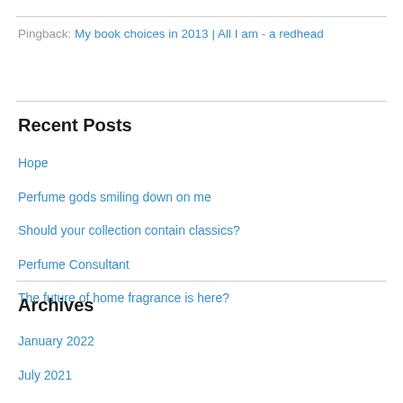Pingback: My book choices in 2013 | All I am - a redhead
Recent Posts
Hope
Perfume gods smiling down on me
Should your collection contain classics?
Perfume Consultant
The future of home fragrance is here?
Archives
January 2022
July 2021
May 2021
April 2021